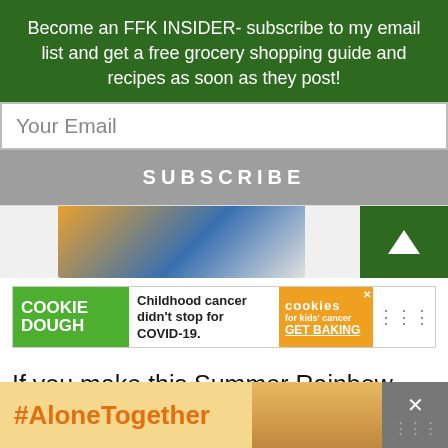Become an FFK INSIDER- subscribe to my email list and get a free grocery shopping guide and recipes as soon as they post!
[Figure (screenshot): Email subscription input field with placeholder 'Your Email']
[Figure (screenshot): Subscribe button in gray]
[Figure (screenshot): Food image partial (Summer Rainbow Salad) with green up-arrow box]
[Figure (screenshot): Cookie Dough ad banner: 'Childhood cancer didn't stop for COVID-19. GET BAKING' with cookies for kids cancer logo]
If you make this Summer Rainbow Salad please tag me on Instagram @FreshFitKitchen
[Figure (screenshot): #AloneTogether advertisement banner at bottom with woman in kitchen image and close buttons]